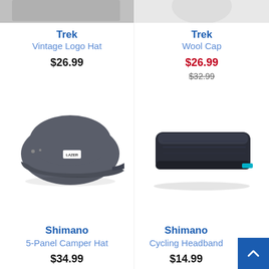[Figure (photo): Trek Vintage Logo Hat product image (grey cap with brim, top portion cropped)]
Trek
Vintage Logo Hat
$26.99
[Figure (photo): Trek Wool Cap product image (white/light item, top portion cropped)]
Trek
Wool Cap
$26.99
$32.99
[Figure (photo): Shimano 5-Panel Camper Hat - grey flat-brim cap with white label patch]
Shimano
5-Panel Camper Hat
$34.99
[Figure (photo): Shimano Cycling Headband - dark navy/black earband/headband]
Shimano
Cycling Headband
$14.99